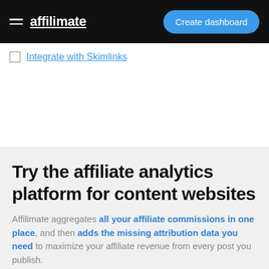affiliimate  Create dashboard
Integrate with Skimlinks
Try the affiliate analytics platform for content websites
Affiliimate aggregates all your affiliate commissions in one place, and then adds the missing attribution data you need to maximize your affiliate revenue from every post you publish.